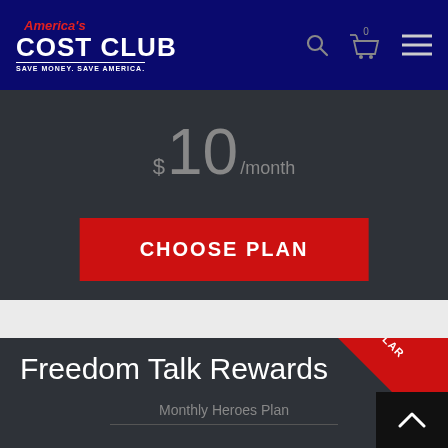[Figure (logo): America's Cost Club logo — red italic 'America's' above bold white 'COST CLUB' text with tagline 'SAVE MONEY. SAVE AMERICA.' on dark navy background]
$10 /month
CHOOSE PLAN
Freedom Talk Rewards
Monthly Heroes Plan
[Figure (infographic): Red diagonal ribbon in top-right corner of Freedom Talk Rewards card reading 'MOST POPULAR']